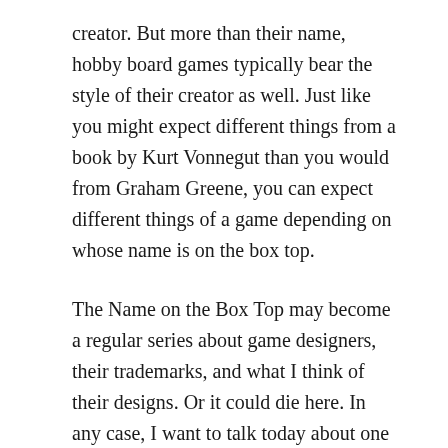creator. But more than their name, hobby board games typically bear the style of their creator as well. Just like you might expect different things from a book by Kurt Vonnegut than you would from Graham Greene, you can expect different things of a game depending on whose name is on the box top.
The Name on the Box Top may become a regular series about game designers, their trademarks, and what I think of their designs. Or it could die here. In any case, I want to talk today about one of my favorite designers: Reiner Knizia.
I know, I know: it's not fashionable to like the good doctor, just like it's not fashionable to like Settlers of Catan, anymore. “Games have come a long way!” we